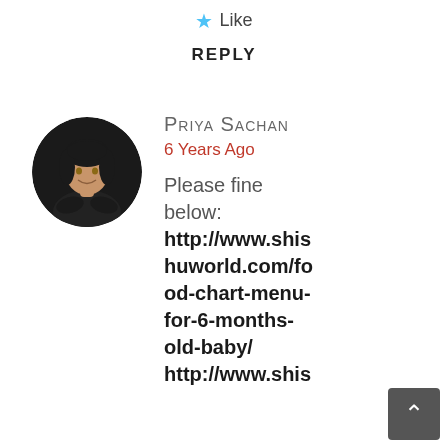★ Like
REPLY
Priya Sachan
6 Years Ago
Please fine below: http://www.shishuworld.com/food-chart-menu-for-6-months-old-baby/ http://www.shis...